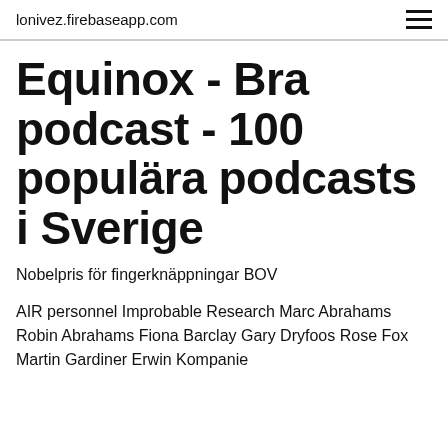lonivez.firebaseapp.com
Equinox - Bra podcast - 100 populära podcasts i Sverige
Nobelpris för fingerknäppningar BOV
AIR personnel Improbable Research Marc Abrahams Robin Abrahams Fiona Barclay Gary Dryfoos Rose Fox Martin Gardiner Erwin Kompanie